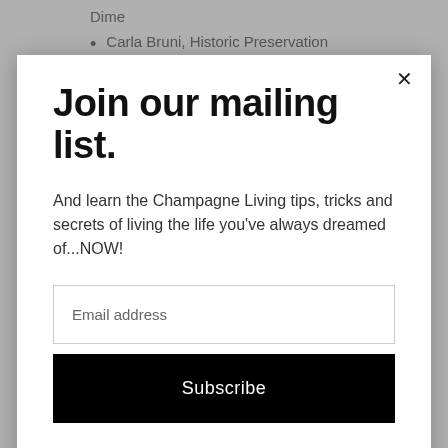Dime
Carla Bruni, Historic Preservation
Join our mailing list.
And learn the Champagne Living tips, tricks and secrets of living the life you've always dreamed of...NOW!
Email address
Subscribe
users, a few pros, a few hobbyists and a few weekend warriors. In short... Real